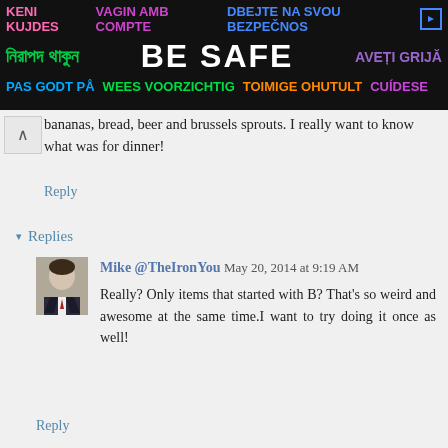[Figure (illustration): Safety advertisement banner with multilingual 'Be Safe' messages in various colors on dark background]
bananas, bread, beer and brussels sprouts. I really want to know what was for dinner!
Reply
▾ Replies
Mike @TheIronYou May 20, 2014 at 9:19 AM
Really? Only items that started with B? That's so weird and awesome at the same time.I want to try doing it once as well!
Reply